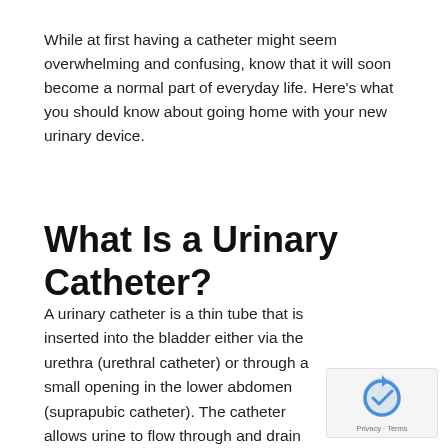While at first having a catheter might seem overwhelming and confusing, know that it will soon become a normal part of everyday life. Here's what you should know about going home with your new urinary device.
What Is a Urinary Catheter?
A urinary catheter is a thin tube that is inserted into the bladder either via the urethra (urethral catheter) or through a small opening in the lower abdomen (suprapubic catheter). The catheter allows urine to flow through and drain into a toilet or a urine collection bag.
[Figure (logo): reCAPTCHA badge with google logo and Privacy - Terms text]